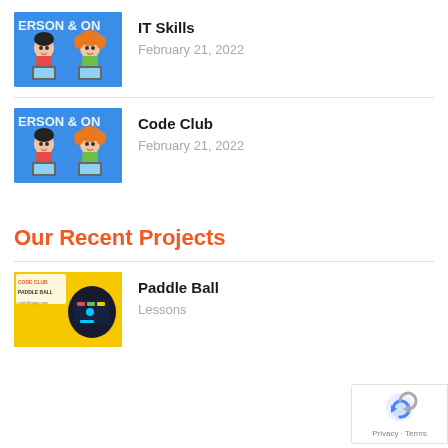[Figure (illustration): Cartoon children using computers on blue background with text ERSON & ON]
IT Skills
February 21, 2022
[Figure (illustration): Cartoon children using computers on blue background with text ERSON & ON]
Code Club
February 21, 2022
Our Recent Projects
[Figure (illustration): Paddle Ball project thumbnail showing Code Club logo and game screenshot on yellow background]
Paddle Ball
Lessons